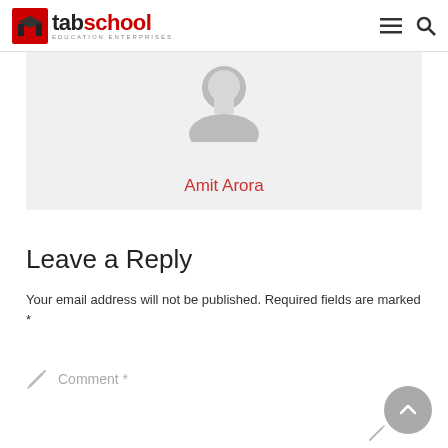tabschool EDUCATION ENTERPRISES
[Figure (other): Author avatar placeholder (grey silhouette) with name 'Amit Arora' in red below]
Leave a Reply
Your email address will not be published. Required fields are marked *
Comment *